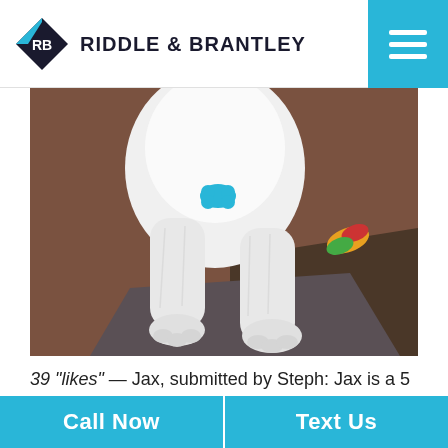RIDDLE & BRANTLEY
[Figure (photo): White fluffy American Eskimo dog (Jax) standing on a brown carpet, viewed from front/below showing chest and front legs. The dog wears a blue bone-shaped tag. A colorful toy is visible on the carpet to the right.]
39 “likes” — Jax, submitted by Steph: Jax is a 5 year old American Eskimo that rescued me 4 years ago. He loves to
Call Now   Text Us